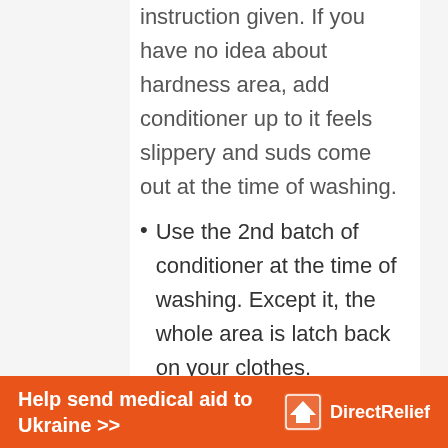instruction given. If you have no idea about hardness area, add conditioner up to it feels slippery and suds come out at the time of washing.
Use the 2nd batch of conditioner at the time of washing. Except it, the whole area is latch back on your clothes.
Remove hard water spots by using vinegar. Distilled white vinegar removes drains, white spots on fabric
Help send medical aid to Ukraine >>